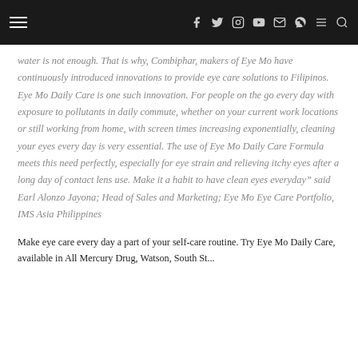Navigation bar with hamburger menu, social media icons (Facebook, Twitter, Instagram, YouTube, Email, Viber), menu and search icons
water is not enough. That is why, Combiphar, makers of Eye Mo have continuously introduced innovations to provide eye care solutions to Filipinos. Eye Mo Daily Care is one such innovation. For people on the go every day with exposure to pollutants in daily commute, whether on your current work locations or still working from home, with screen times increasing exponentially, cleaning your eyes every day is very essential. The use of Eye Mo Daily Care Formula meets this need perfectly, especially for eye strain and relieving itchy eyes after a long day of contact lens use. Make it a habit to have clean eyes everyday” said Earl Alonzo Jayona; Head of Sales and Marketing; Eye Mo Eye Care Portfolio, IMS Asia Philippines
Make eye care every day a part of your self-care routine. Try Eye Mo Daily Care, available in All Mercury Drug, Watson, South St...